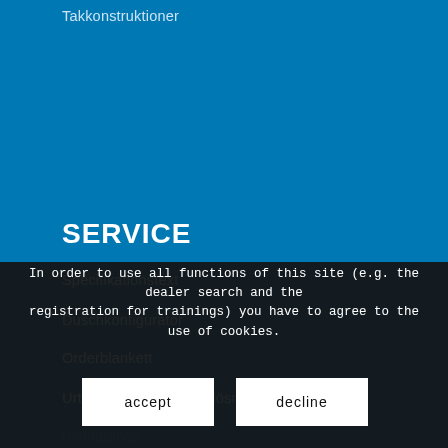Takkonstruktioner
SERVICE
Specifikationstext
Duschkonfigurator
Orderblankett
Urtagsmallar för duschlösningar
Bilddatabas
Testcertificat och godkännande
Kataloger/broschyrer/formulär
Newsletter
In order to use all functions of this site (e.g. the dealer search and the registration for trainings) you have to agree to the use of cookies.
accept
decline